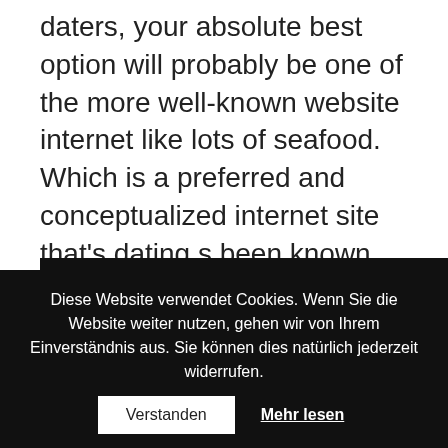daters, your absolute best option will probably be one of the more well-known website internet like lots of seafood. Which is a preferred and conceptualized internet site that's dating s been known for many years and has now thousands and thousands of effective individuals. It will make the application of identity metrics to position their meets and you'll send and receive interactions w
[Figure (screenshot): Video thumbnail showing a YouTube-style video player with a circular avatar of a blonde woman in black clothing on a dark background, with the title 'Fargo 2x09 - Epic Motel Shootout Scene (1']
Diese Website verwendet Cookies. Wenn Sie die Website weiter nutzen, gehen wir von Ihrem Einverständnis aus. Sie können dies natürlich jederzeit widerrufen.
Verstanden   Mehr lesen